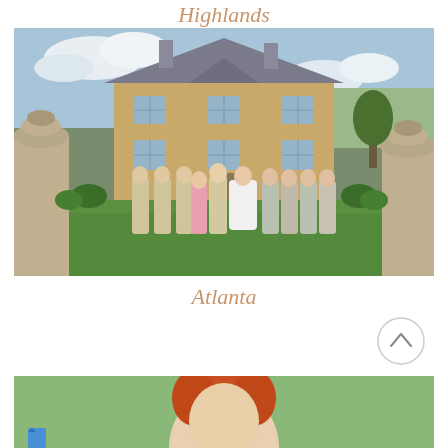Highlands
[Figure (photo): Wedding party group photo standing on a green lawn in front of a two-storey stone manor house. The group includes the bride in a white gown, groom and groomsmen in tan suits, bridesmaids in grey/tan gowns, and an older woman in a pink jacket. Stone gate pillars with ornamental finials frame the foreground.]
Atlanta
[Figure (illustration): Circular scroll-to-top button with an upward-pointing chevron arrow, rendered with a thin grey circle border on white background.]
[Figure (photo): Partial view of a person with red/orange hair, cropped at the bottom of the page, outdoors with green foliage visible.]